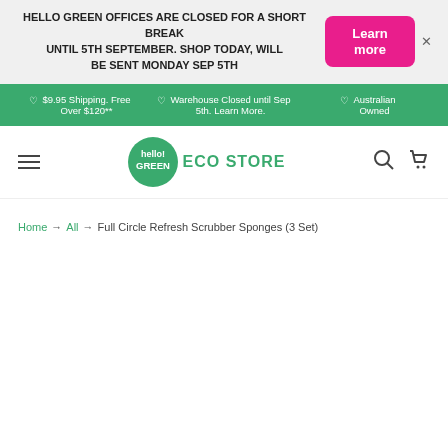HELLO GREEN OFFICES ARE CLOSED FOR A SHORT BREAK UNTIL 5TH SEPTEMBER. SHOP TODAY, WILL BE SENT MONDAY SEP 5TH
Learn more
♡ $9.95 Shipping. Free Over $120**
♡ Warehouse Closed until Sep 5th. Learn More.
♡ Australian Owned
[Figure (logo): hello! GREEN ECO STORE logo with green circle]
Home → All → Full Circle Refresh Scrubber Sponges (3 Set)